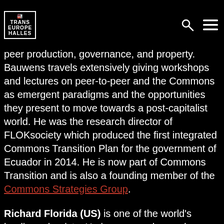TRANS EUROPE HALLES [logo with search and menu icons]
peer production, governance, and property. Bauwens travels extensively giving workshops and lectures on peer-to-peer and the Commons as emergent paradigms and the opportunities they present to move towards a post-capitalist world. He was the research director of FLOKsociety which produced the first integrated Commons Transition Plan for the government of Ecuador in 2014. He is now part of Commons Transition and is also a founding member of the Commons Strategies Group.
Richard Florida (US) is one of the world's leading urbanists. He is a researcher and professor, serving as University Professor at University of Toronto's School of Cities and Rotman School of Management, and a...